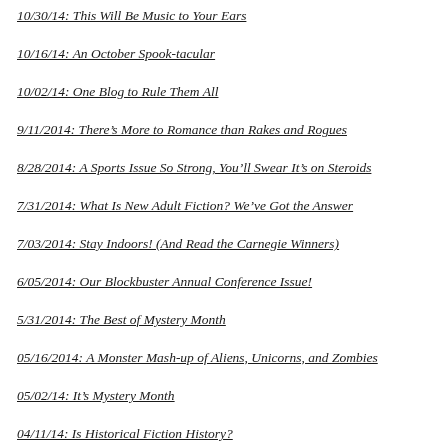10/30/14: This Will Be Music to Your Ears
10/16/14: An October Spook-tacular
10/02/14: One Blog to Rule Them All
9/11/2014: There's More to Romance than Rakes and Rogues
8/28/2014: A Sports Issue So Strong, You'll Swear It's on Steroids
7/31/2014: What Is New Adult Fiction? We've Got the Answer
7/03/2014: Stay Indoors! (And Read the Carnegie Winners)
6/05/2014: Our Blockbuster Annual Conference Issue!
5/31/2014: The Best of Mystery Month
05/16/2014: A Monster Mash-up of Aliens, Unicorns, and Zombies
05/02/14: It's Mystery Month
04/11/14: Is Historical Fiction History?